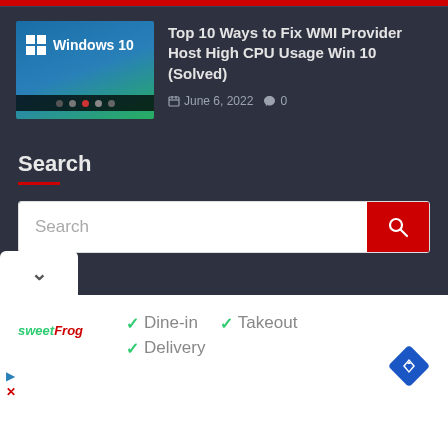[Figure (screenshot): Website screenshot showing a dark-themed tech blog page with a Windows 10 article thumbnail]
Top 10 Ways to Fix WMI Provider Host High CPU Usage Win 10 (Solved)
June 6, 2022  0
Search
[Figure (screenshot): Search bar input field with red search button]
[Figure (infographic): White section with sweetFrog logo and dine-in, takeout, delivery options with checkmarks, and navigation diamond icon]